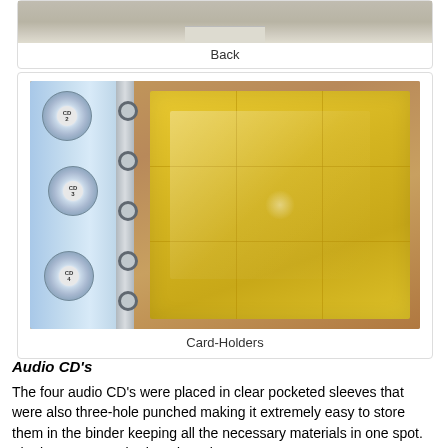[Figure (photo): Top portion of a photograph showing the back of a binder or similar object on a light surface]
Back
[Figure (photo): Photograph showing a yellow plastic card-holder sheet with grid pockets inside a three-ring binder. The binder spine is blue/silver with visible rings, and CDs are visible in the binder pockets. The binder sits on a wooden table surface.]
Card-Holders
Audio CD's
The four audio CD's were placed in clear pocketed sleeves that were also three-hole punched making it extremely easy to store them in the binder keeping all the necessary materials in one spot. The lessons were broken down by